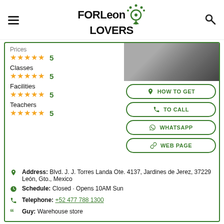FORLeon LOVERS
Prices ★★★★★ 5
Classes ★★★★★ 5
Facilities ★★★★★ 5
Teachers ★★★★★ 5
HOW TO GET
TO CALL
WHATSAPP
WEB PAGE
Address: Blvd. J. J. Torres Landa Ote. 4137, Jardines de Jerez, 37229 León, Gto., Mexico
Schedule: Closed · Opens 10AM Sun
Telephone: +52 477 788 1300
Guy: Warehouse store